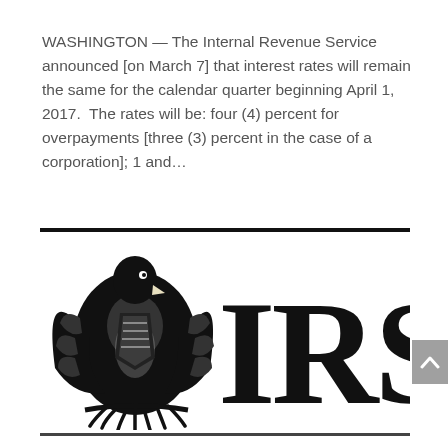WASHINGTON — The Internal Revenue Service announced [on March 7] that interest rates will remain the same for the calendar quarter beginning April 1, 2017.  The rates will be: four (4) percent for overpayments [three (3) percent in the case of a corporation]; 1 and...
[Figure (logo): IRS eagle logo and 'IRS' text — black and white eagle emblem on the left and large bold 'IRS' letters on the right, with horizontal black rule lines above and below]